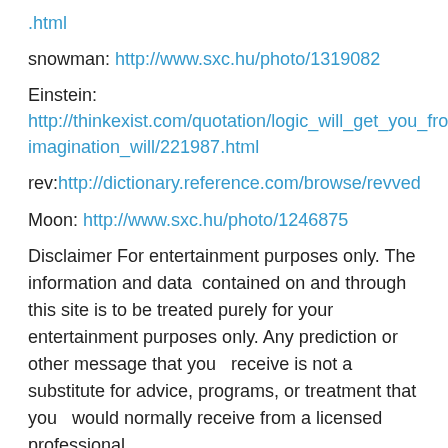.html
snowman: http://www.sxc.hu/photo/1319082
Einstein:
http://thinkexist.com/quotation/logic_will_get_you_from_a_to_b-imagination_will/221987.html
rev:http://dictionary.reference.com/browse/revved
Moon: http://www.sxc.hu/photo/1246875
Disclaimer For entertainment purposes only. The information and data  contained on and through this site is to be treated purely for your    entertainment purposes only. Any prediction or other message that you    receive is not a substitute for advice, programs, or treatment that you    would normally receive from a licensed professional